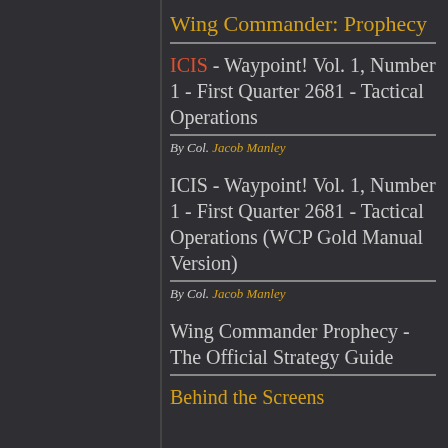Wing Commander: Prophecy
ICIS - Waypoint! Vol. 1, Number 1 - First Quarter 2681 - Tactical Operations
By Col. Jacob Manley
ICIS - Waypoint! Vol. 1, Number 1 - First Quarter 2681 - Tactical Operations (WCP Gold Manual Version)
By Col. Jacob Manley
Wing Commander Prophecy - The Official Strategy Guide
Behind the Screens